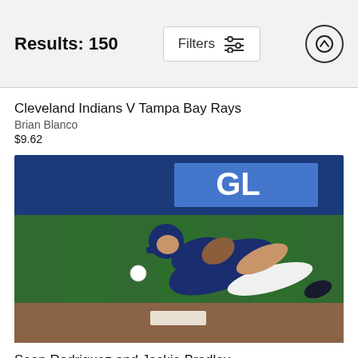Results: 150
Cleveland Indians V Tampa Bay Rays
Brian Blanco
$9.62
[Figure (photo): Baseball player in Tampa Bay Rays uniform diving to catch a ball on the field, photographed during a game.]
Sean Rodriguez and Jackie Bradley
Mike Cash